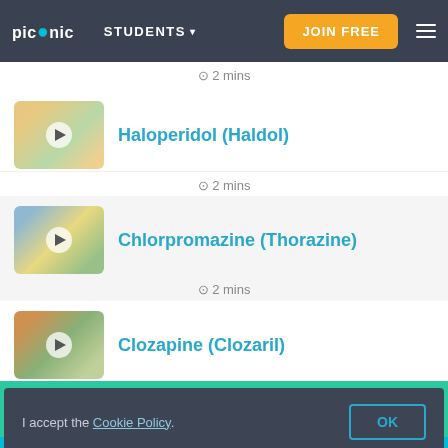picmonic  STUDENTS  JOIN FREE
⊙ 2 mins
Haloperidol (Haldol)
⊙ 2 mins
Chlorpromazine (Thorazine)
⊙ 2 mins
Clozapine (Clozaril)
Angelica just got you 20% off Picmonic!
I accept the Cookie Policy.  OK